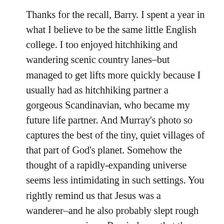Thanks for the recall, Barry. I spent a year in what I believe to be the same little English college. I too enjoyed hitchhiking and wandering scenic country lanes–but managed to get lifts more quickly because I usually had as hitchhiking partner a gorgeous Scandinavian, who became my future life partner. And Murray's photo so captures the best of the tiny, quiet villages of that part of God's planet. Somehow the thought of a rapidly-expanding universe seems less intimidating in such settings. You rightly remind us that Jesus was a wanderer–and he also probably slept rough on many occasions. Reminds me that the “mission field” for most Christians is not a remote part of the world, but just over the back fence or across the street. May we not fail in our own local